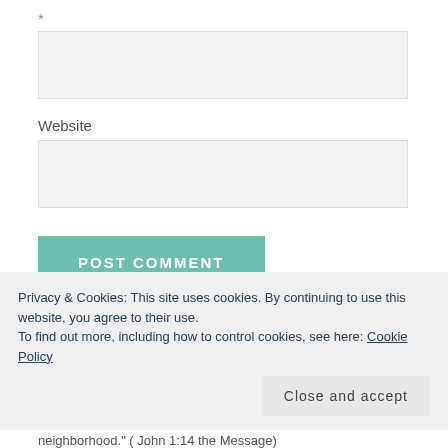*
[Figure (screenshot): Empty text input box (light gray)]
Website
[Figure (screenshot): Empty text input box for website (light gray)]
POST COMMENT
Notify me of new comments via email.
Notify me of new posts via email.
Privacy & Cookies: This site uses cookies. By continuing to use this website, you agree to their use.
To find out more, including how to control cookies, see here: Cookie Policy
Close and accept
neighborhood." ( John 1:14  the Message)